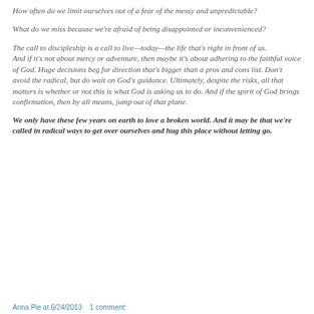How often do we limit ourselves out of a fear of the messy and unpredictable?
What do we miss because we're afraid of being disappointed or inconvenienced?
The call to discipleship is a call to live—today—the life that's right in front of us.
And if it's not about mercy or adventure, then maybe it's about adhering to the faithful voice of God. Huge decisions beg for direction that's bigger than a pros and cons list. Don't avoid the radical, but do wait on God's guidance. Ultimately, despite the risks, all that matters is whether or not this is what God is asking us to do. And if the spirit of God brings confirmation, then by all means, jump out of that plane.
We only have these few years on earth to love a broken world. And it may be that we're called in radical ways to get over ourselves and hug this place without letting go.
Anna Pie at 6/24/2013   1 comment: